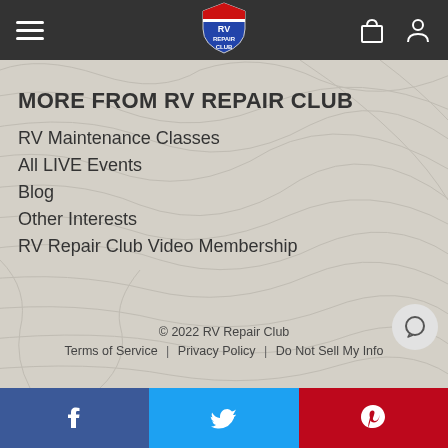[Figure (screenshot): Website header with hamburger menu icon on left, RV Repair Club shield logo in center, shopping bag and user account icons on right, on dark grey background]
MORE FROM RV REPAIR CLUB
RV Maintenance Classes
All LIVE Events
Blog
Other Interests
RV Repair Club Video Membership
© 2022 RV Repair Club   Terms of Service  |  Privacy Policy  |  Do Not Sell My Info
[Figure (screenshot): Bottom social sharing bar with Facebook (blue), Twitter (light blue), and Pinterest (red) buttons]